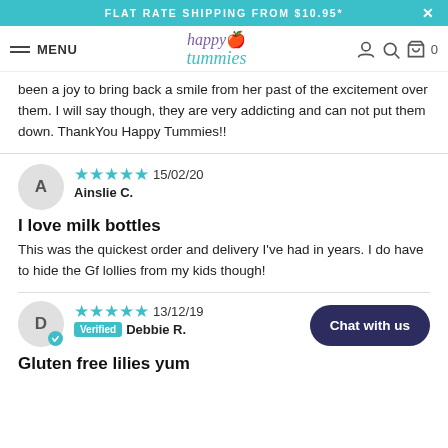FLAT RATE SHIPPING FROM $10.95*
MENU | happy tummies logo | account, search, cart icons
been a joy to bring back a smile from her past of the excitement over them. I will say though, they are very addicting and can not put them down. ThankYou Happy Tummies!!
★★★★★ 15/02/20
Ainslie C.
I love milk bottles
This was the quickest order and delivery I've had in years. I do have to hide the Gf lollies from my kids though!
★★★★★ 13/12/19
Verified Debbie R.
Gluten free lilies yum